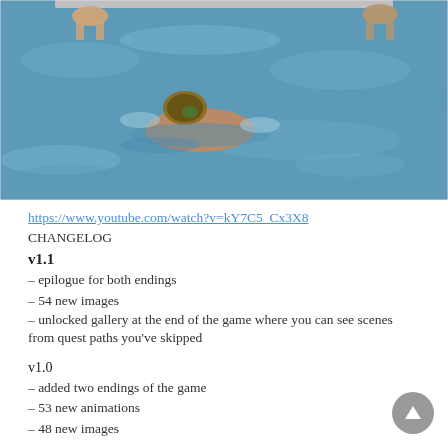[Figure (photo): Swimming pool scene showing people in water, viewed from above. Two figures visible at top edge and one swimmer with colorful swim cap in the lower center.]
https://www.youtube.com/watch?v=kY7C5_Cx3X8
CHANGELOG
v1.1
– epilogue for both endings
– 54 new images
– unlocked gallery at the end of the game where you can see scenes from quest paths you've skipped
v1.0
– added two endings of the game
– 53 new animations
– 48 new images
v0.27.0
– one new quest with two scenes